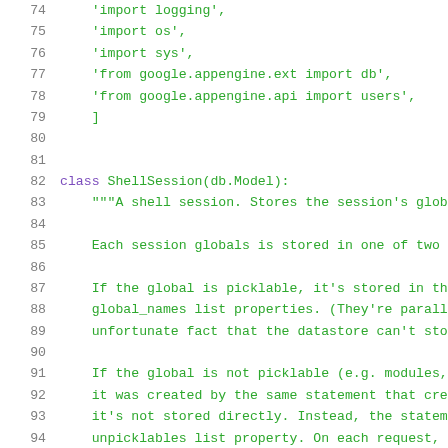[Figure (screenshot): Source code listing showing Python code lines 74-95. Line numbers in gray on left, code in green/purple monospace font. Shows import statements and a ShellSession class definition with docstring.]